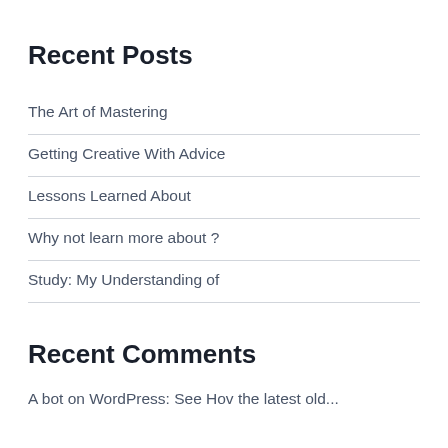Recent Posts
The Art of Mastering
Getting Creative With Advice
Lessons Learned About
Why not learn more about ?
Study: My Understanding of
Recent Comments
A bot on WordPress: See Hov the latest old...